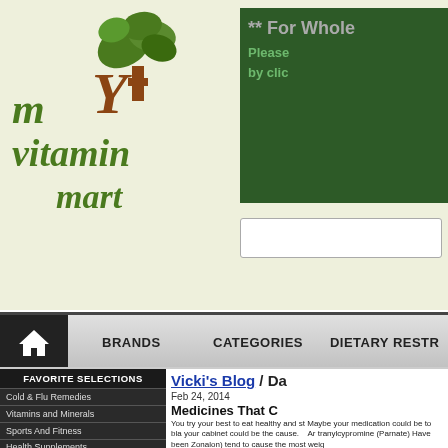[Figure (logo): My Vitamin Mart logo with tree graphic]
** For Whole Please by clic
BRANDS   CATEGORIES   DIETARY RESTR
FAVORITE SELECTIONS
Cold & Flu Remedies
Vitamins and Minerals
Sports And Fitness
Health Supplements
Baby and Children
Pet Care and Supplies
Personal Care
Hair Care
Vicki's Blog / Da
Feb 24, 2014
Medicines That C
You try your best to eat healthy and st Maybe your medication could be to bla your cabinet could be the cause.   Ar tranylcypromine (Parnate) Have been Zonalon) tend to cause the most weig
Read more →
0 Comments
Antidepressants, Daily Health Blog, Daily Hea
Share